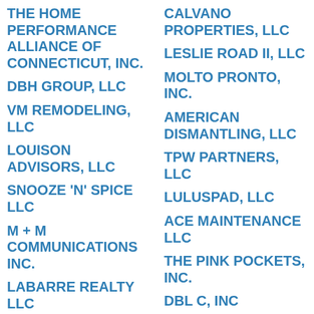THE HOME PERFORMANCE ALLIANCE OF CONNECTICUT, INC.
DBH GROUP, LLC
VM REMODELING, LLC
LOUISON ADVISORS, LLC
SNOOZE 'N' SPICE LLC
M + M COMMUNICATIONS INC.
LABARRE REALTY LLC
LANDSCAPING MARTINEZ LLC
IGREJA EVANGELICA ASSEMBLEIA DE DEUS
NOVA VOYAGE CONSULTING INC.
B. COLLECTIVE, LLC
CALVANO PROPERTIES, LLC
LESLIE ROAD II, LLC
MOLTO PRONTO, INC.
AMERICAN DISMANTLING, LLC
TPW PARTNERS, LLC
LULUSPAD, LLC
ACE MAINTENANCE LLC
THE PINK POCKETS, INC.
DBL C, INC
LLC
HEATHER ROSE, LLC
SCRAPBOOK WHIMSY, LLC
RANN'S LIMITED, LLC